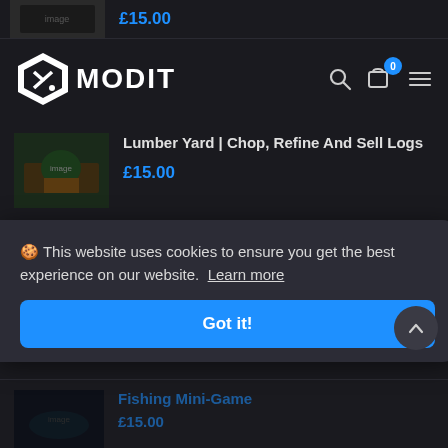£15.00
[Figure (logo): MODIT logo with hexagon icon and text]
Lumber Yard | Chop, Refine And Sell Logs
£15.00
MechanicNPC's | Repair Vehicles For You
£20.00
🍪 This website uses cookies to ensure you get the best experience on our website. Learn more
Got it!
Fishing Mini-Game
£15.00